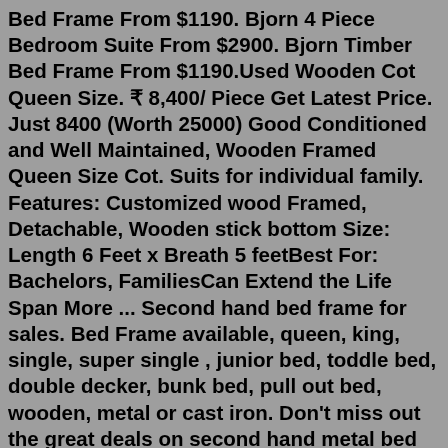Bed Frame From $1190. Bjorn 4 Piece Bedroom Suite From $2900. Bjorn Timber Bed Frame From $1190.Used Wooden Cot Queen Size. ₹ 8,400/ Piece Get Latest Price. Just 8400 (Worth 25000) Good Conditioned and Well Maintained, Wooden Framed Queen Size Cot. Suits for individual family. Features: Customized wood Framed, Detachable, Wooden stick bottom Size: Length 6 Feet x Breath 5 feetBest For: Bachelors, FamiliesCan Extend the Life Span More ... Second hand bed frame for sales. Bed Frame available, queen, king, single, super single , junior bed, toddle bed, double decker, bunk bed, pull out bed, wooden, metal or cast iron. Don't miss out the great deals on second hand metal bed frame. All used bed frame that we are selling go through high quality check. We are one of the most trusted second hand bed frame supplier in malaysia. Perhaps the new bed's frame is just shinier or the design is more modern but think about it, just wipe the second hand beds with a clean cloth and we're sure it will be as shiny as the one in the mall, top it with a beautifully